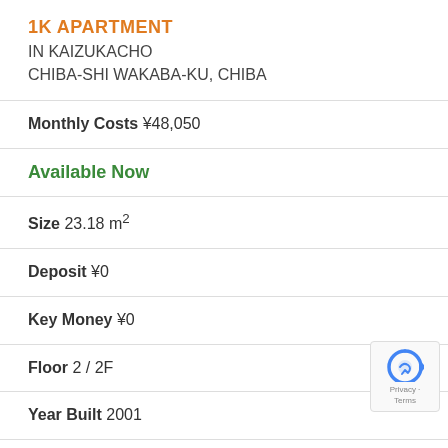1K APARTMENT IN KAIZUKACHO CHIBA-SHI WAKABA-KU, CHIBA
Monthly Costs ¥48,050
Available Now
Size 23.18 m²
Deposit ¥0
Key Money ¥0
Floor 2 / 2F
Year Built 2001
Nearest Station Tsuga Station (15 min. walk)